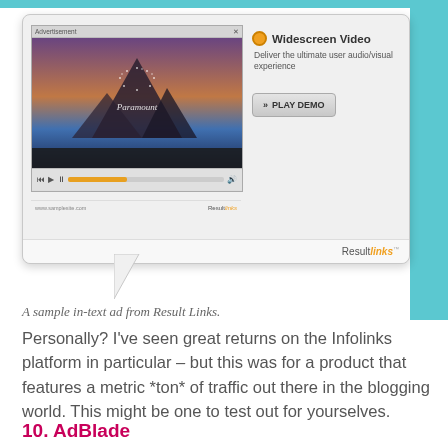[Figure (screenshot): A sample in-text ad from Result Links showing a widescreen video advertisement mockup with a Paramount-style mountain logo inside a video player, a 'PLAY DEMO' button, and the ResultLinks branding at the bottom. The ad appears in a speech bubble pop-up style overlay.]
A sample in-text ad from Result Links.
Personally? I've seen great returns on the Infolinks platform in particular – but this was for a product that features a metric *ton* of traffic out there in the blogging world. This might be one to test out for yourselves.
10. AdBlade